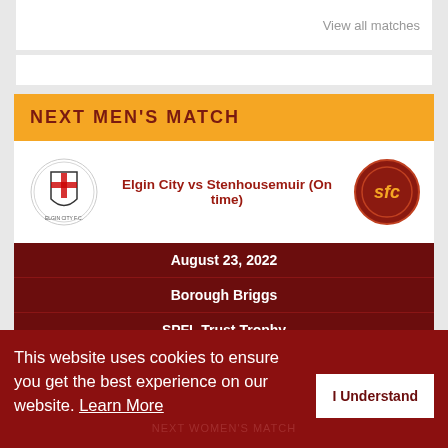View all matches
NEXT MEN'S MATCH
Elgin City vs Stenhousemuir (On time)
August 23, 2022
Borough Briggs
SPFL Trust Trophy
02 days  11 hrs  38 mins  31 secs
This website uses cookies to ensure you get the best experience on our website. Learn More
I Understand